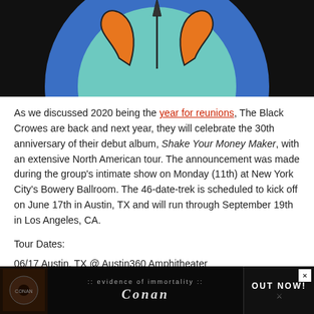[Figure (illustration): Partial view of an album or event artwork showing a colorful circle design with orange butterfly/shoe shapes on a teal inner circle, surrounded by a blue ring, on a black background.]
As we discussed 2020 being the year for reunions, The Black Crowes are back and next year, they will celebrate the 30th anniversary of their debut album, Shake Your Money Maker, with an extensive North American tour. The announcement was made during the group's intimate show on Monday (11th) at New York City's Bowery Ballroom. The 46-date-trek is scheduled to kick off on June 17th in Austin, TX and will run through September 19th in Los Angeles, CA.
Tour Dates:
06/17 Austin, TX @ Austin360 Amphitheater
06/19 Dallas, TX @ Dos Equis Pavilion
06/20 H... presented by Hunt...
[Figure (photo): Advertisement banner at bottom of page for Conan 'Evidence of Immortality' album, showing band imagery, gothic logo, and OUT NOW text with an X close button.]